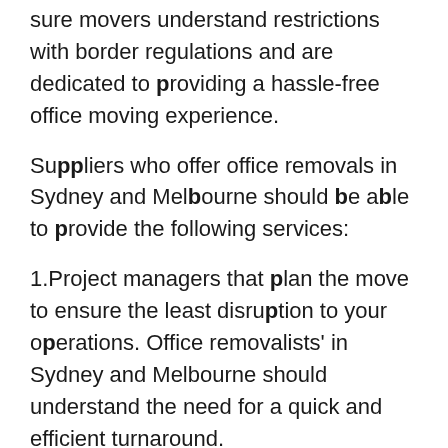sure movers understand restrictions with border regulations and are dedicated to providing a hassle-free office moving experience.
Suppliers who offer office removals in Sydney and Melbourne should be able to provide the following services:
1.Project managers that plan the move to ensure the least disruption to your operations. Office removalists' in Sydney and Melbourne should understand the need for a quick and efficient turnaround.
2. The removals supplier should provide well-trained staff that offer an end-to-end